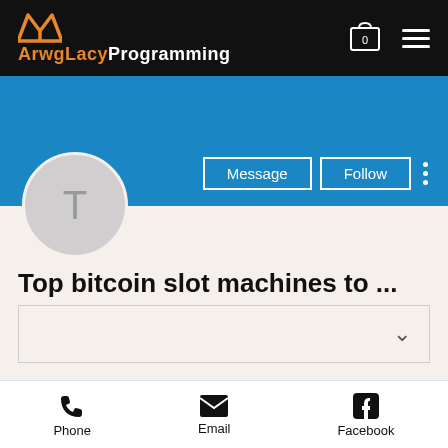ArwgLacyProgramming
[Figure (screenshot): Blue profile banner with Message and Follow buttons and three-dot menu]
[Figure (illustration): Circular avatar placeholder with letter T]
Top bitcoin slot machines to ...
0 Followers • 0 Following
[Figure (other): Collapsible section with chevron down arrow]
Profile
Phone  Email  Facebook